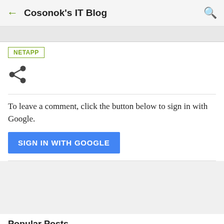Cosonok's IT Blog
[Figure (screenshot): Navigation tabs bar strip at top of blog page]
NETAPP
[Figure (illustration): Share icon (three connected circles)]
To leave a comment, click the button below to sign in with Google.
SIGN IN WITH GOOGLE
Popular Posts